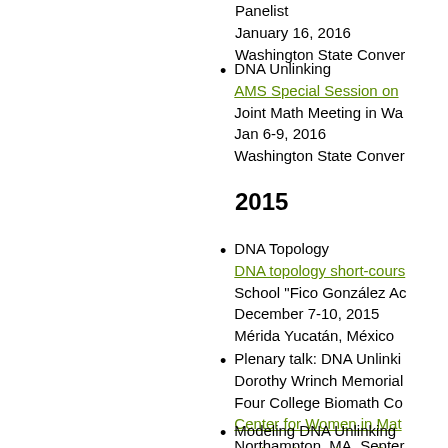Panelist
January 16, 2016
Washington State Conven
DNA Unlinking
AMS Special Session on
Joint Math Meeting in Wa
Jan 6-9, 2016
Washington State Conven
2015
DNA Topology
DNA topology short-cours
School "Fico González Ac
December 7-10, 2015
Mérida Yucatán, México
Plenary talk: DNA Unlinki
Dorothy Wrinch Memorial
Four College Biomath Co
Center for Women in Mat
Northampton, MA, Septe
Modeling DNA Unlinking
83rd Mathematics Colloqu